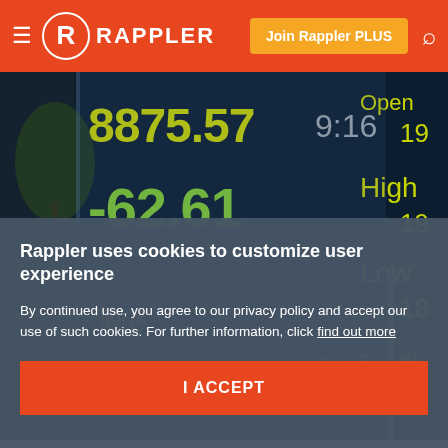Rappler | Join Rappler PLUS
[Figure (photo): Stock market electronic board showing numbers 8875.57, -62.61, 9:16, Open, High, Low labels with Japanese text, displayed on a large outdoor screen]
Rappler uses cookies to customize user experience
By continued use, you agree to our privacy policy and accept our use of such cookies. For further information, click find out more
I ACCEPT